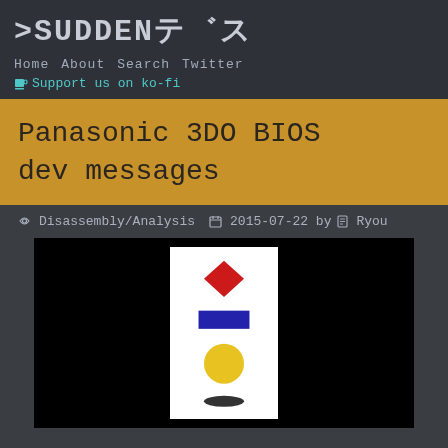>SUDDENテ゛ス
Home   About   Search   Twitter
Support us on ko-fi
Panasonic 3DO BIOS dev messages
Disassembly/Analysis   2015-07-22 by   Ryou
[Figure (screenshot): 3DO BIOS screen on black background showing a white card with a red diamond, blue rectangle, yellow circle, and dark oval shape stacked vertically]